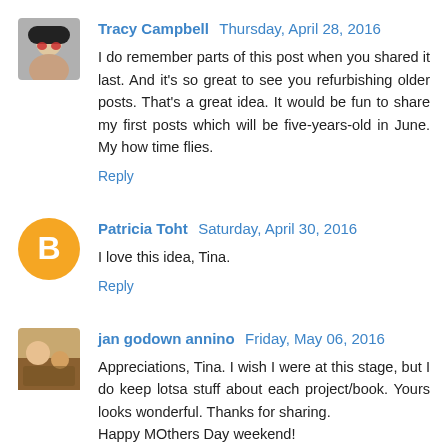[Figure (photo): Avatar photo of Tracy Campbell - person wearing hat and sunglasses]
Tracy Campbell Thursday, April 28, 2016
I do remember parts of this post when you shared it last. And it's so great to see you refurbishing older posts. That's a great idea. It would be fun to share my first posts which will be five-years-old in June. My how time flies.
Reply
[Figure (logo): Blogger orange circle icon with B logo]
Patricia Toht Saturday, April 30, 2016
I love this idea, Tina.
Reply
[Figure (photo): Avatar photo of jan godown annino]
jan godown annino Friday, May 06, 2016
Appreciations, Tina. I wish I were at this stage, but I do keep lotsa stuff about each project/book. Yours looks wonderful. Thanks for sharing.
Happy MOthers Day weekend!